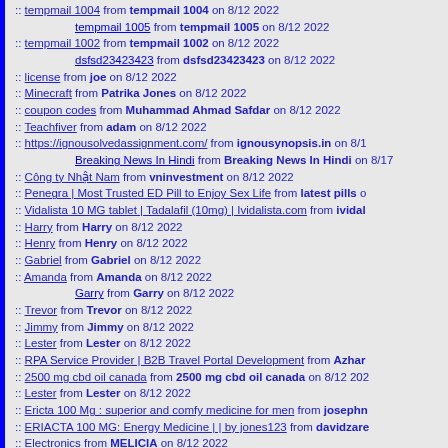:: tempmail 1004 from tempmail 1004 on 8/12 2022
tempmail 1005 from tempmail 1005 on 8/12 2022
:: tempmail 1002 from tempmail 1002 on 8/12 2022
dsfsd23423423 from dsfsd23423423 on 8/12 2022
:: license from joe on 8/12 2022
:: Minecraft from Patrika Jones on 8/12 2022
:: coupon codes from Muhammad Ahmad Safdar on 8/12 2022
:: Teachfiver from adam on 8/12 2022
:: https://ignousolvedassignment.com/ from ignousynopsis.in on 8/1
Breaking News In Hindi from Breaking News In Hindi on 8/17
:: Công ty Nhật Nam from vninvestment on 8/12 2022
:: Penegra | Most Trusted ED Pill to Enjoy Sex Life from latest pills o
:: Vidalista 10 MG tablet | Tadalafil (10mg) | Ividalista.com from ividal
:: Harry from Harry on 8/12 2022
:: Henry from Henry on 8/12 2022
:: Gabriel from Gabriel on 8/12 2022
:: Amanda from Amanda on 8/12 2022
Garry from Garry on 8/12 2022
:: Trevor from Trevor on 8/12 2022
:: Jimmy from Jimmy on 8/12 2022
:: Lester from Lester on 8/12 2022
:: RPA Service Provider | B2B Travel Portal Development from Azhar
:: 2500 mg cbd oil canada from 2500 mg cbd oil canada on 8/12 202
:: Lester from Lester on 8/12 2022
:: Ericta 100 Mg : superior and comfy medicine for men from josephn
:: ERIACTA 100 MG: Energy Medicine | | by jones123 from davidzare
:: Electronics from MELICIA on 8/12 2022
:: Electronics from MELICIA on 8/12 2022
::  Buy a Real Passport Online from modifyielts ielts on 8/11 2022
:: posting from insightech21 on 8/11 2022